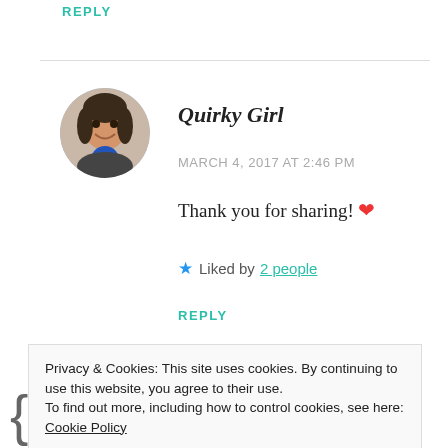REPLY
[Figure (photo): Circular avatar photo of a woman smiling, with a blue object in background]
Quirky Girl
MARCH 4, 2017 AT 2:46 PM
Thank you for sharing! ❤
★ Liked by 2 people
REPLY
Privacy & Cookies: This site uses cookies. By continuing to use this website, you agree to their use.
To find out more, including how to control cookies, see here: Cookie Policy
Close and accept